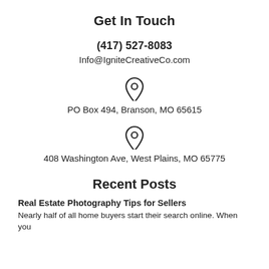Get In Touch
(417) 527-8083
Info@IgniteCreativeCo.com
[Figure (illustration): Location pin icon]
PO Box 494, Branson, MO 65615
[Figure (illustration): Location pin icon]
408 Washington Ave, West Plains, MO 65775
Recent Posts
Real Estate Photography Tips for Sellers
Nearly half of all home buyers start their search online. When you